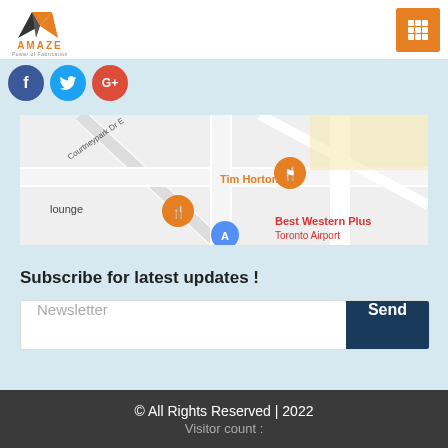[Figure (logo): Amaze logo with orange/dark triangular icon and text 'AMAZE Power of Fabrication']
[Figure (infographic): Orange grid/menu button icon in top right corner]
[Figure (infographic): Social media icons: Facebook (blue circle with f), Twitter (blue circle with t), Google+ (red circle with G+)]
[Figure (map): Google Maps screenshot showing area near Tim Hortons restaurant, lounge with food icon markers, and Best Western Plus Toronto Airport label visible]
Subscribe for latest updates !
Newsletter
Send
© All Rights Reserved | 2022
Visitor count :